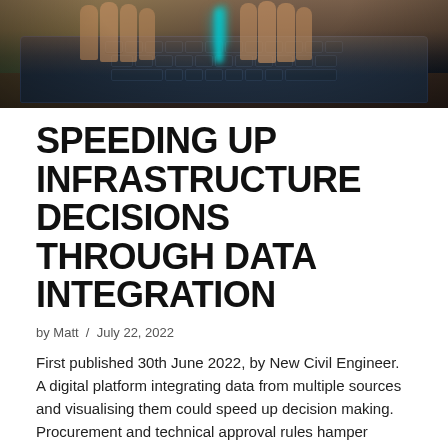[Figure (photo): Close-up photo of hands typing on a laptop keyboard in a dark setting with cyan/teal digital glow effects visible above the keyboard]
SPEEDING UP INFRASTRUCTURE DECISIONS THROUGH DATA INTEGRATION
by Matt / July 22, 2022
First published 30th June 2022, by New Civil Engineer. A digital platform integrating data from multiple sources and visualising them could speed up decision making. Procurement and technical approval rules hamper innovation in transport infrastructure, says Transport Infrastructure Efficiency Strategy (Ties). Living